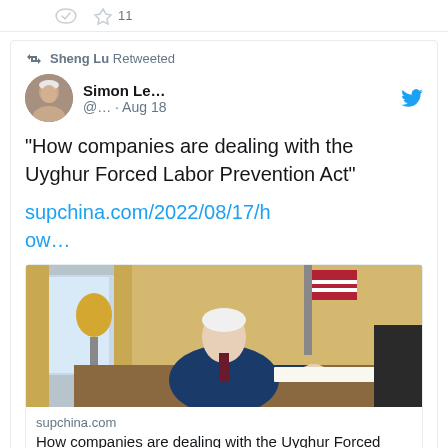[Figure (screenshot): Twitter/social media screenshot showing a retweet by Sheng Lu of a tweet by Simon Le... dated Aug 18, with tweet text about Uyghur Forced Labor Prevention Act, a link to supchina.com, and a link preview card with an image of a person signing documents and text 'How companies are dealing with the Uyghur Forced...']
Sheng Lu Retweeted
Simon Le... @... · Aug 18
"How companies are dealing with the Uyghur Forced Labor Prevention Act"
supchina.com/2022/08/17/how…
supchina.com
How companies are dealing with the Uyghur Forced...